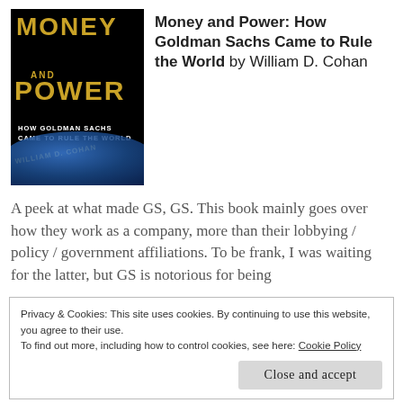[Figure (photo): Book cover of 'Money and Power: How Goldman Sachs Came to Rule the World' by William D. Cohan. Dark background with golden title text and globe image.]
Money and Power: How Goldman Sachs Came to Rule the World by William D. Cohan
A peek at what made GS, GS. This book mainly goes over how they work as a company, more than their lobbying / policy / government affiliations. To be frank, I was waiting for the latter, but GS is notorious for being
Privacy & Cookies: This site uses cookies. By continuing to use this website, you agree to their use.
To find out more, including how to control cookies, see here: Cookie Policy
Close and accept